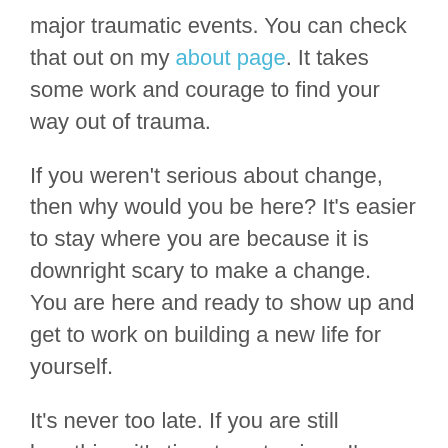major traumatic events. You can check that out on my about page. It takes some work and courage to find your way out of trauma.
If you weren't serious about change, then why would you be here? It's easier to stay where you are because it is downright scary to make a change.  You are here and ready to show up and get to work on building a new life for yourself.
It's never too late. If you are still breathing, it's time to get going.  I'm here to help you discover new possibilities. I'm here to help you look at fear differently and help you take that first step.
Are you ready to make a change?  I'm ready to go as soon as you are.